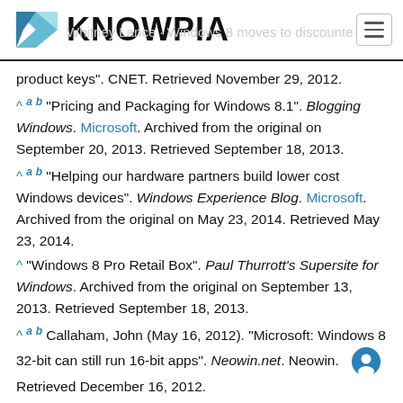KNOWPIA
product keys". CNET. Retrieved November 29, 2012.
^ a b "Pricing and Packaging for Windows 8.1". Blogging Windows. Microsoft. Archived from the original on September 20, 2013. Retrieved September 18, 2013.
^ a b "Helping our hardware partners build lower cost Windows devices". Windows Experience Blog. Microsoft. Archived from the original on May 23, 2014. Retrieved May 23, 2014.
^ "Windows 8 Pro Retail Box". Paul Thurrott's Supersite for Windows. Archived from the original on September 13, 2013. Retrieved September 18, 2013.
^ a b Callaham, John (May 16, 2012). "Microsoft: Windows 8 32-bit can still run 16-bit apps". Neowin.net. Neowin. Retrieved December 16, 2012.
^ "Windows 8 will run 16-bit apps, says Microsoft". WinBeta...